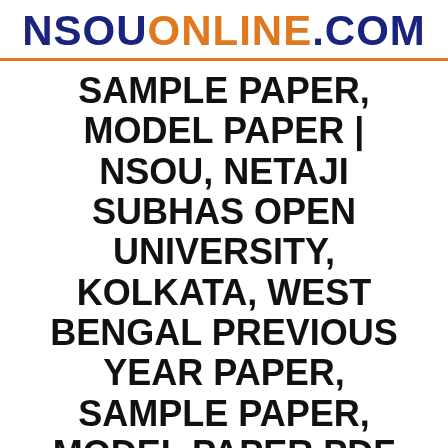NSOUONLINE.COM
SAMPLE PAPER, MODEL PAPER | NSOU, NETAJI SUBHAS OPEN UNIVERSITY, KOLKATA, WEST BENGAL PREVIOUS YEAR PAPER, SAMPLE PAPER, MODEL PAPER PDF DOWNLOAD
Our website will provide you NSOU, NSOU BA Sample Paper, NSOU, NSOU Old Paper, NSOU, NSOU Previous Year Paper, NSOU, NSOU Question Paper, NSOU, NSOU Old Paper, NSOU, NSOU last ...